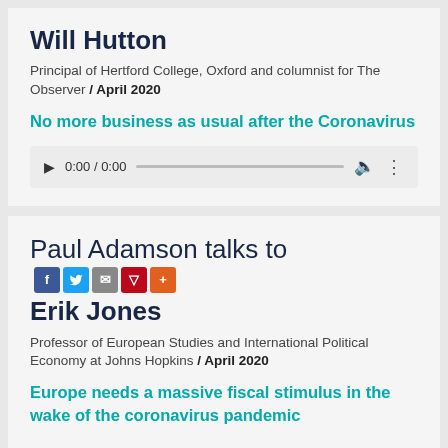Will Hutton
Principal of Hertford College, Oxford and columnist for The Observer / April 2020
No more business as usual after the Coronavirus
[Figure (other): Audio player widget showing 0:00 / 0:00 with play button, progress bar, volume and more icons]
Paul Adamson talks to Erik Jones
Professor of European Studies and International Political Economy at Johns Hopkins / April 2020
Europe needs a massive fiscal stimulus in the wake of the coronavirus pandemic